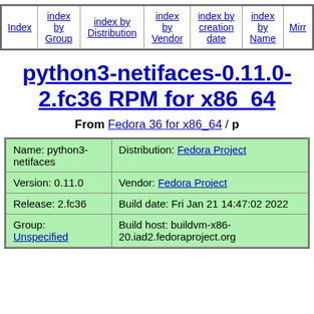| Index | index by Group | index by Distribution | index by Vendor | index by creation date | index by Name | Mirr… |
| --- | --- | --- | --- | --- | --- | --- |
|  |
python3-netifaces-0.11.0-2.fc36 RPM for x86_64
From Fedora 36 for x86_64 / p
| Name: python3-netifaces | Distribution: Fedora Project |
| Version: 0.11.0 | Vendor: Fedora Project |
| Release: 2.fc36 | Build date: Fri Jan 21 14:47:02 2022 |
| Group: Unspecified | Build host: buildvm-x86-20.iad2.fedoraproject.org |